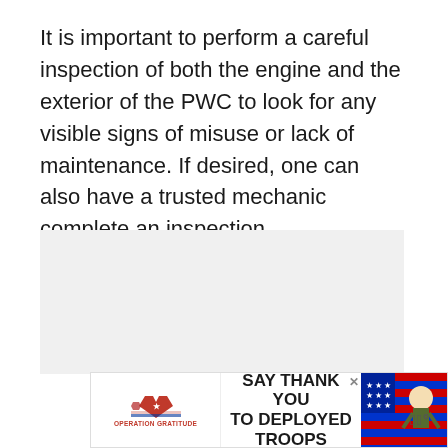It is important to perform a careful inspection of both the engine and the exterior of the PWC to look for any visible signs of misuse or lack of maintenance. If desired, one can also have a trusted mechanic complete an inspection.
[Figure (screenshot): Gray placeholder image area with UI elements: a blue heart/like button, a white share button with share icon, a 'WHAT'S NEXT' card showing a thumbnail and text '11 ways to make money...']
[Figure (infographic): Advertisement banner: Operation Gratitude logo with American flag star, text 'SAY THANK YOU TO DEPLOYED TROOPS', cartoon soldier illustration, close X button, and a logo on the right side.]